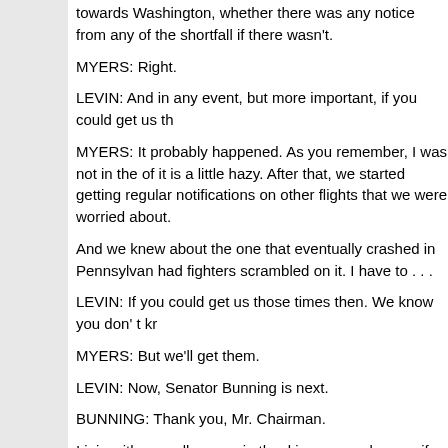towards Washington, whether there was any notice from any of the shortfall if there wasn't.
MYERS: Right.
LEVIN: And in any event, but more important, if you could get us th
MYERS: It probably happened. As you remember, I was not in the of it is a little hazy. After that, we started getting regular notifications on other flights that we were worried about.
And we knew about the one that eventually crashed in Pennsylvan had fighters scrambled on it. I have to . . .
LEVIN: If you could get us those times then. We know you don' t kr
MYERS: But we'll get them.
LEVIN: Now, Senator Bunning is next.
BUNNING: Thank you, Mr. Chairman.
I join with my colleagues in thanking you and your wife for your ser events have again reminded us of the importance of a continuous v nation.
You will have a very large job ahead of you to protect this great nat look forward to working with you and your colleagues to fulfill our c our country.